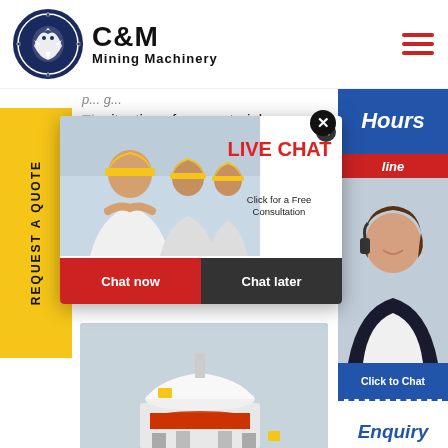[Figure (logo): C&M Mining Machinery logo with eagle/gear emblem in dark blue circle, text 'C&M Mining Machinery' in bold black]
[Figure (screenshot): Website screenshot showing mining machinery company page with live chat overlay popup, yellow REQUEST A QUOTE sidebar, worker photo, agent photo, hours banner, chat now/chat later buttons, and partial machinery image at bottom]
situation of raw materials development in eria may be likened to the song stone or sand ld adjus amic mc ally Get nufactu
LIVE CHAT
Click for a Free Consultation
Chat now
Chat later
REQUEST A QUOTE
Hours
line
Click to Chat
Enquiry